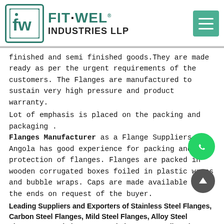[Figure (logo): Fit-Wel Industries LLP logo with teal/green branding, icon showing 'fw' letters in a rounded square, company name in teal and black bold text]
finished and semi finished goods.They are made ready as per the urgent requirements of the customers. The Flanges are manufactured to sustain very high pressure and product warranty.
Lot of emphasis is placed on the packing and packaging . Flanges Manufacturer as a Flange Suppliers in Angola has good experience for packing and protection of flanges. Flanges are packed in wooden corrugated boxes foiled in plastic wraps and bubble wraps. Caps are made available to the ends on request of the buyer.
Leading Suppliers and Exporters of Stainless Steel Flanges, Carbon Steel Flanges, Mild Steel Flanges, Alloy Steel Flanges, Inconel Flanges, Monel Flanges, Hastelloy Flanges, Nickel Alloys Flanges, Duplex Steel Flanges, Super Duplex Steel Flanges, Titanium Flanges, Alloy 20 Flanges, 254 SMO Flanges, and more.